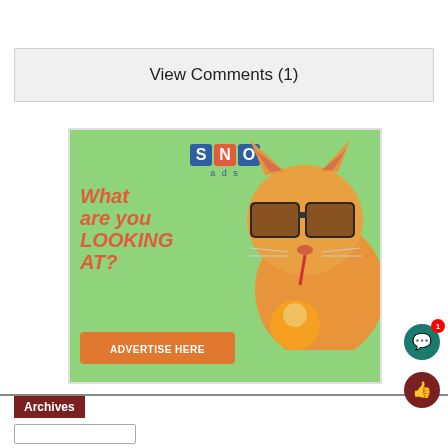View Comments (1)
[Figure (illustration): SNO ads advertisement banner featuring a cat wearing sunglasses and drinking a cocktail, with text 'What are you LOOKING AT?' and an 'ADVERTISE HERE' button on a green background]
Archives